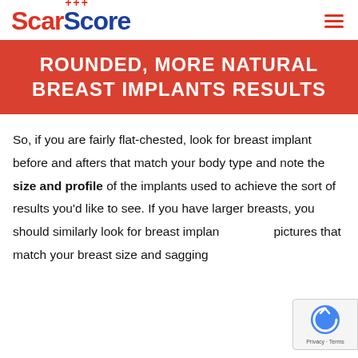ScarScore
ROUNDED, MORE NATURAL BREAST IMPLANTS RESULTS
So, if you are fairly flat-chested, look for breast implant before and afters that match your body type and note the size and profile of the implants used to achieve the sort of results you'd like to see. If you have larger breasts, you should similarly look for breast implant pictures that match your breast size and sagging